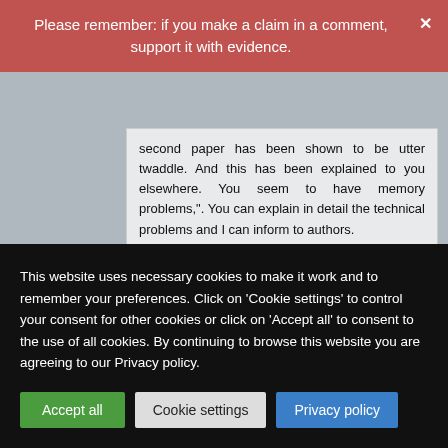Please remember: if you make a claim in a comment, support it with evidence.
second paper has been shown to be utter twaddle. And this has been explained to you elsewhere. You seem to have memory problems,". You can explain in detail the technical problems and I can inform to authors.
Alex Hankey on Friday 24 August 2018 at 02:04
This website uses necessary cookies to make it work and to remember your preferences. Click on 'Cookie settings' to control your consent for other cookies or click on 'Accept all' to consent to the use of all cookies. By continuing to browse this website you are agreeing to our Privacy policy.